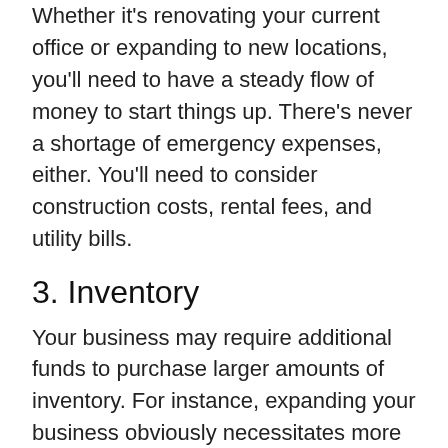Whether it's renovating your current office or expanding to new locations, you'll need to have a steady flow of money to start things up. There's never a shortage of emergency expenses, either. You'll need to consider construction costs, rental fees, and utility bills.
3. Inventory
Your business may require additional funds to purchase larger amounts of inventory. For instance, expanding your business obviously necessitates more supplies. Seasonal businesses may also need to apply for loans in certain months in order to meet higher demand.
Here's a really simple example: ice candy. Sure, you've got the best flavors in the market. You even have a secret ingredient to help you stand out. But as customers come rolling in (especially during